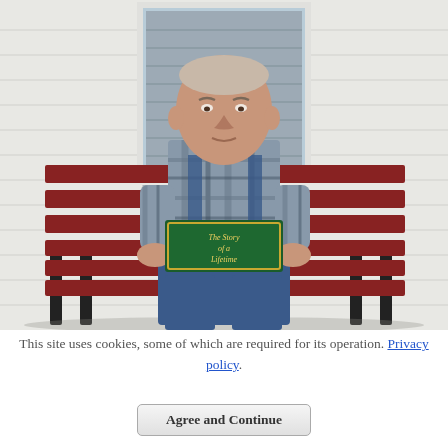[Figure (photo): An elderly man sitting on a red wooden park bench in front of a white clapboard building with a window behind him. He is wearing a plaid flannel shirt and denim overalls, and is holding a green hardcover book titled 'The Story of a Lifetime' with both hands.]
This site uses cookies, some of which are required for its operation. Privacy policy.
Agree and Continue